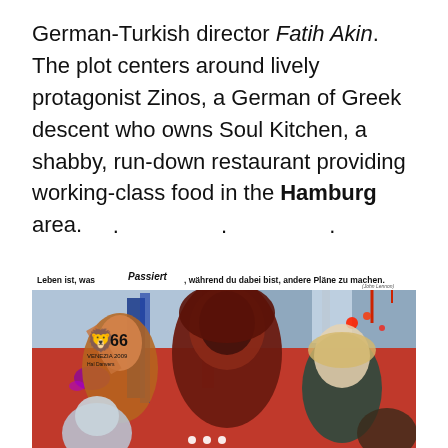German-Turkish director Fatih Akin. The plot centers around lively protagonist Zinos, a German of Greek descent who owns Soul Kitchen, a shabby, run-down restaurant providing working-class food in the Hamburg area.
· · ·
[Figure (illustration): Soul Kitchen movie poster. Text at top reads: 'Leben ist, was passiert, während du dabei bist, andere Pläne zu machen.' (John Lennon). Venice Film Festival 66 logo (Venezia 2009) in lower left. Colorful collage of characters including a woman with raised arm on left, a man with reddish-brown hair in the center, a blonde woman on the right, and other figures. Industrial/urban Hamburg background with cranes and buildings. Red, blue, yellow color palette with paint splatter effects.]